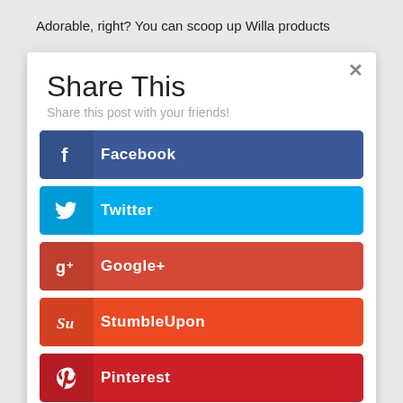Adorable, right? You can scoop up Willa products
[Figure (screenshot): Share This modal dialog with social sharing buttons: Facebook (blue), Twitter (cyan), Google+ (red), StumbleUpon (orange-red), Pinterest (dark red), Gmail (red-orange). Has a close (x) button in top right. Subtitle reads 'Share this post with your friends!']